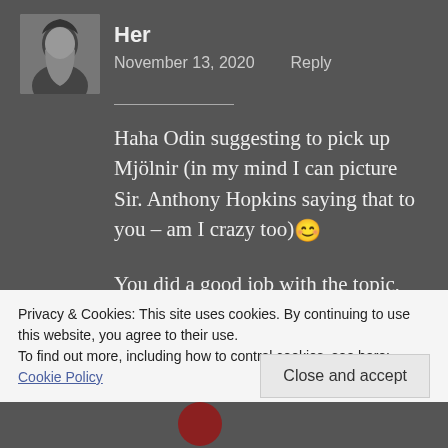[Figure (photo): Black and white avatar photo of a woman smiling]
Her
November 13, 2020   Reply
Haha Odin suggesting to pick up Mjölnir (in my mind I can picture Sir. Anthony Hopkins saying that to you – am I crazy too)😊
You did a good job with the topic, your words sure spoke to me. As always it's pleasure!
Privacy & Cookies: This site uses cookies. By continuing to use this website, you agree to their use.
To find out more, including how to control cookies, see here: Cookie Policy
Close and accept